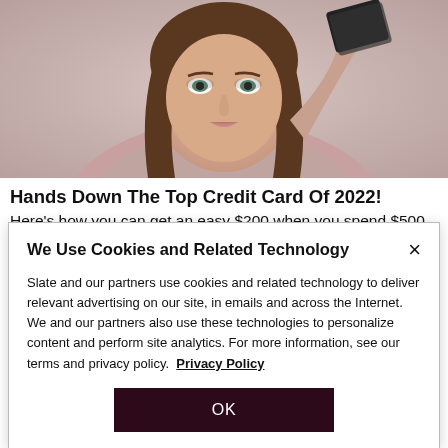[Figure (photo): Woman holding a dark credit card, wearing a knit sweater, photographed against a light pinkish-beige background]
Hands Down The Top Credit Card Of 2022!
Here's how you can get an easy $200 when you spend $500.
We Use Cookies and Related Technology
Slate and our partners use cookies and related technology to deliver relevant advertising on our site, in emails and across the Internet. We and our partners also use these technologies to personalize content and perform site analytics. For more information, see our terms and privacy policy. Privacy Policy
OK